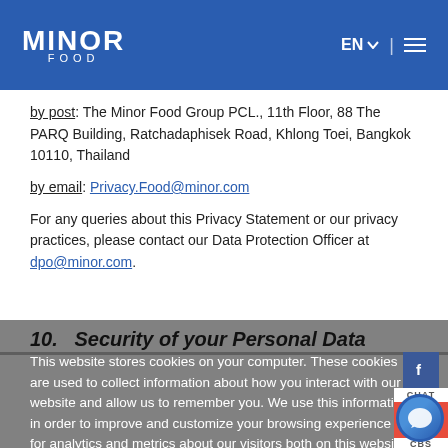MINOR FOOD | EN
by post: The Minor Food Group PCL., 11th Floor, 88 The PARQ Building, Ratchadaphisek Road, Khlong Toei, Bangkok 10110, Thailand
by email: Privacy.Food@minor.com
For any queries about this Privacy Statement or our privacy practices, please contact our Data Protection Officer at dpo@minor.com.
10.   Security of your Personal Data
This website stores cookies on your computer. These cookies are used to collect information about how you interact with our website and allow us to remember you. We use this information in order to improve and customize your browsing experience and for analytics and metrics about our visitors both on this website and other media.